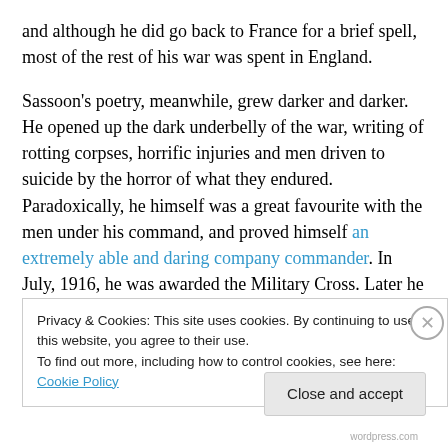and although he did go back to France for a brief spell, most of the rest of his war was spent in England.
Sassoon’s poetry, meanwhile, grew darker and darker. He opened up the dark underbelly of the war, writing of rotting corpses, horrific injuries and men driven to suicide by the horror of what they endured. Paradoxically, he himself was a great favourite with the men under his command, and proved himself an extremely able and daring company commander. In July, 1916, he was awarded the Military Cross. Later he was recommended for the Victoria Cross
Privacy & Cookies: This site uses cookies. By continuing to use this website, you agree to their use.
To find out more, including how to control cookies, see here: Cookie Policy
Close and accept